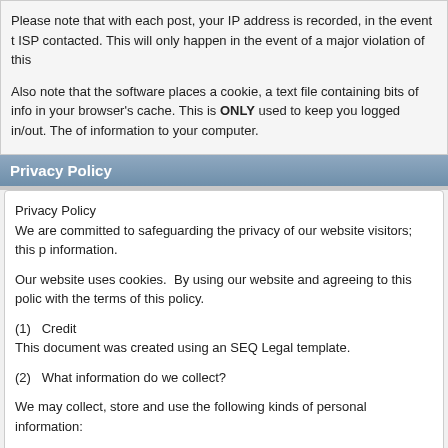Please note that with each post, your IP address is recorded, in the event that ISP contacted. This will only happen in the event of a major violation of this
Also note that the software places a cookie, a text file containing bits of info in your browser's cache. This is ONLY used to keep you logged in/out. The of information to your computer.
Privacy Policy
Privacy Policy
We are committed to safeguarding the privacy of our website visitors; this p information.
Our website uses cookies.  By using our website and agreeing to this polic with the terms of this policy.
(1)   Credit
This document was created using an SEQ Legal template.
(2)   What information do we collect?
We may collect, store and use the following kinds of personal information:
(a)   information about your computer and about your visits to and use of th geographical location, browser type and version, operating system, referral navigation.